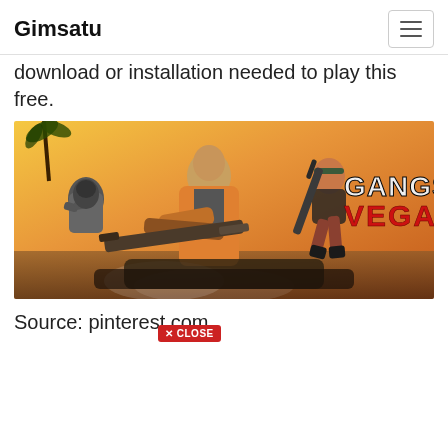Gimsatu
download or installation needed to play this free.
[Figure (photo): Gangstar Vegas game promotional artwork showing armed characters with 'GANGSTAR VEGAS' text logo on a fiery orange background]
Source: pinterest.com